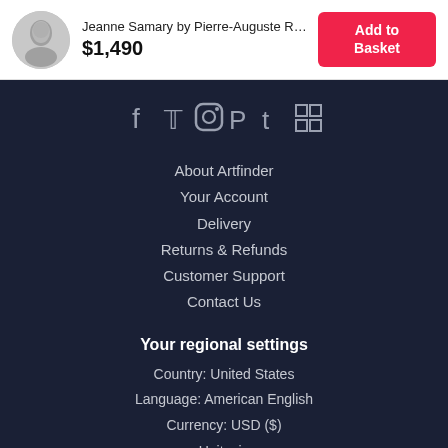[Figure (photo): Circular thumbnail of a portrait painting (Jeanne Samary)]
Jeanne Samary by Pierre-Auguste Ren...
$1,490
Add to Basket
[Figure (infographic): Social media icons row: Facebook, Twitter, Instagram, Pinterest, Tumblr, Houzz]
About Artfinder
Your Account
Delivery
Returns & Refunds
Customer Support
Contact Us
Your regional settings
Country: United States
Language: American English
Currency: USD ($)
Units: in